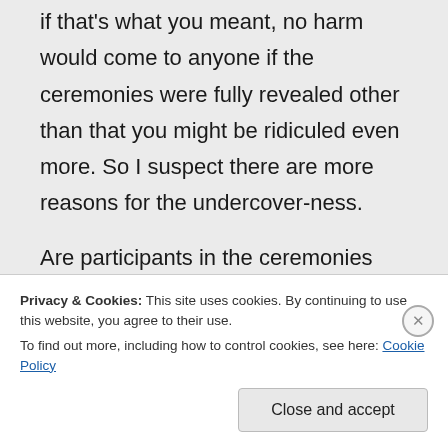if that's what you meant, no harm would come to anyone if the ceremonies were fully revealed other than that you might be ridiculed even more. So I suspect there are more reasons for the undercover-ness.
Are participants in the ceremonies specifically told not to tell certain things, or it is more that the participants don't want to tell certain
Privacy & Cookies: This site uses cookies. By continuing to use this website, you agree to their use.
To find out more, including how to control cookies, see here: Cookie Policy
Close and accept